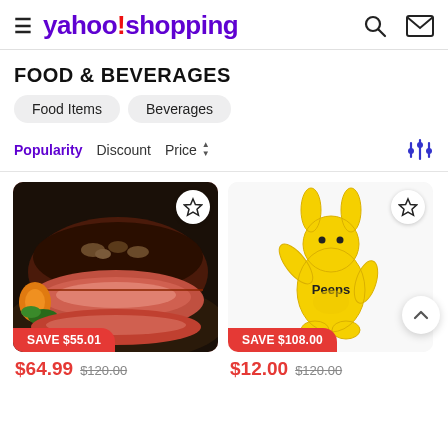yahoo!shopping
FOOD & BEVERAGES
Food Items
Beverages
Popularity   Discount   Price
[Figure (photo): Grilled steak sliced on a plate with vegetables]
[Figure (photo): Yellow Peeps bunny plush toy standing upright]
SAVE $55.01   $64.99   $120.00
SAVE $108.00   $12.00   $120.00